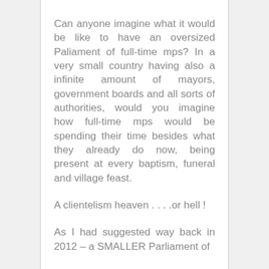Can anyone imagine what it would be like to have an oversized Paliament of full-time mps? In a very small country having also a infinite amount of mayors, government boards and all sorts of authorities, would you imagine how full-time mps would be spending their time besides what they already do now, being present at every baptism, funeral and village feast.
A clientelism heaven . . . .or hell !
As I had suggested way back in 2012 – a SMALLER Parliament of